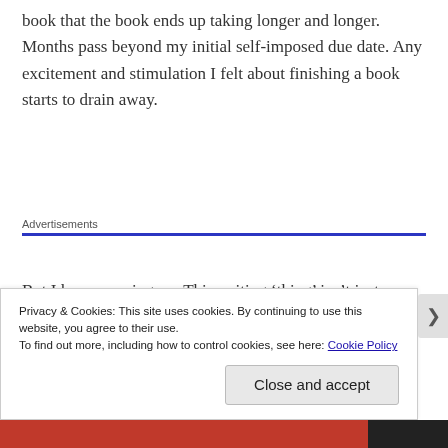book that the book ends up taking longer and longer. Months pass beyond my initial self-imposed due date. Any excitement and stimulation I felt about finishing a book starts to drain away.
Advertisements
But I keep pressing on. This writing ‘thing’ isn’t just a casual fling with me. It’s a lifelong love affair that I have to
Privacy & Cookies: This site uses cookies. By continuing to use this website, you agree to their use.
To find out more, including how to control cookies, see here: Cookie Policy
Close and accept